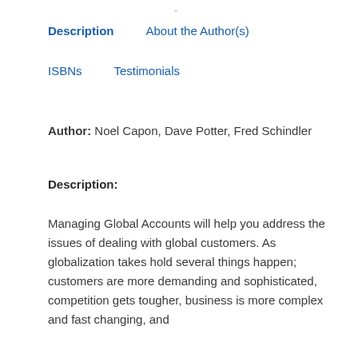-
Description    About the Author(s)
ISBNs    Testimonials
Author: Noel Capon, Dave Potter, Fred Schindler
Description:
Managing Global Accounts will help you address the issues of dealing with global customers. As globalization takes hold several things happen; customers are more demanding and sophisticated, competition gets tougher, business is more complex and fast changing, and